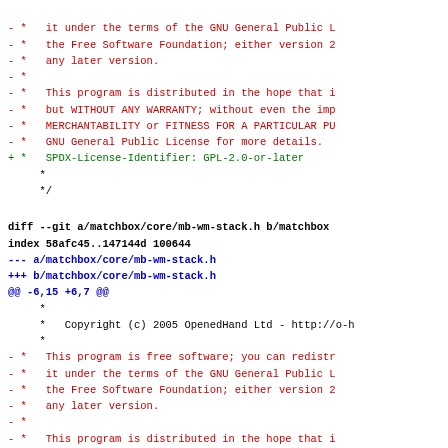Diff output showing removal of GPL license boilerplate and addition of SPDX identifier in matchbox/core/mb-wm-stack.h
diff --git a/matchbox/core/mb-wm-stack.h b/matchbox/core/mb-wm-stack.h
index 58afc45..147144d 100644
--- a/matchbox/core/mb-wm-stack.h
+++ b/matchbox/core/mb-wm-stack.h
@@ -6,15 +6,7 @@